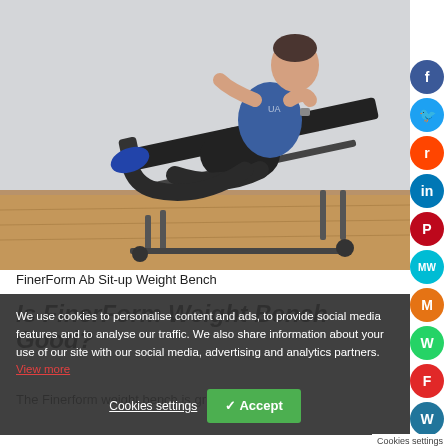[Figure (photo): Man performing ab sit-up exercise on a FinerForm decline weight bench on a wooden floor in a light-colored room]
FinerForm Ab Sit-up Weight Bench
Is FinerForm Weight Bench Good?
The Finerform weight bench is gr...
We use cookies to personalise content and ads, to provide social media features and to analyse our traffic. We also share information about your use of our site with our social media, advertising and analytics partners. View more
Cookies settings   ✓ Accept   Cookies settings